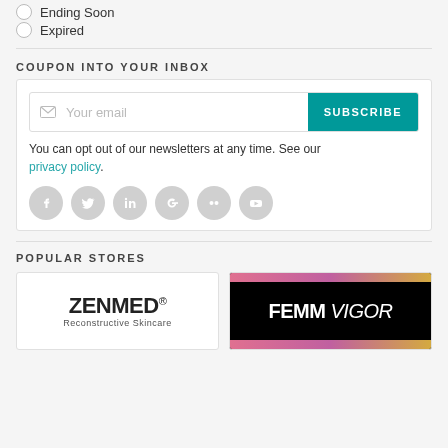Ending Soon
Expired
COUPON INTO YOUR INBOX
Your email | SUBSCRIBE
You can opt out of our newsletters at any time. See our privacy policy.
[Figure (illustration): Six circular social media icon buttons (Facebook, Twitter, LinkedIn, Google+, Flickr, YouTube) in light gray]
POPULAR STORES
[Figure (logo): ZENMED Reconstructive Skincare logo on white background]
[Figure (logo): FEMM VIGOR logo: bold white text on black background with pink/gold gradient stripes at top and bottom]